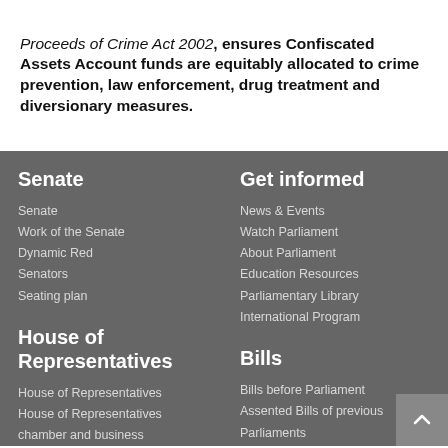Proceeds of Crime Act 2002, ensures Confiscated Assets Account funds are equitably allocated to crime prevention, law enforcement, drug treatment and diversionary measures.
Senate
Senate
Work of the Senate
Dynamic Red
Senators
Seating plan
Get informed
News & Events
Watch Parliament
About Parliament
Education Resources
Parliamentary Library
International Program
House of Representatives
House of Representatives
House of Representatives chamber and business documents
Live Minutes
Bills
Bills before Parliament
Assented Bills of previous Parliaments
Tariff Proposals
Legislative Instruments